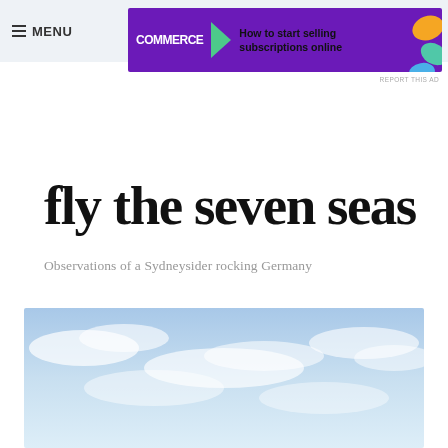≡ MENU
[Figure (other): WooCommerce advertisement banner: 'How to start selling subscriptions online' with purple background, green arrow shape, and colorful leaf shapes on right]
REPORT THIS AD
fly the seven seas
Observations of a Sydneysider rocking Germany
[Figure (photo): Sky photograph showing blue sky with wispy white clouds, taken from below looking upward]